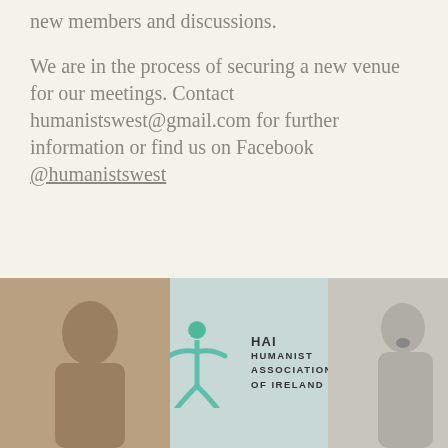We are in the process of securing a new venue for our meetings. Contact humanistswest@gmail.com for further information or find us on Facebook @humanistswest
Share this:
[Figure (photo): Three-panel photo strip at bottom: left panel shows a person, center panel shows Humanist Association of Ireland (HAI) logo/banner, right panel shows a woman speaking or singing]